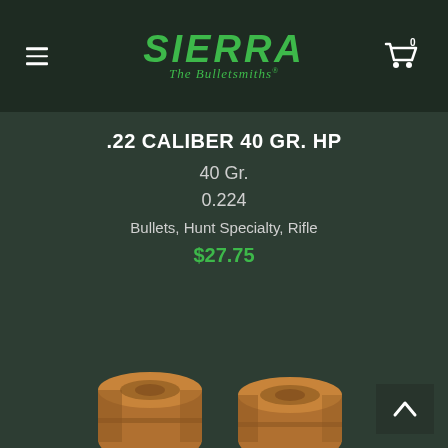Sierra — The Bulletsmiths
.22 CALIBER 40 GR. HP
40 Gr.
0.224
Bullets, Hunt Specialty, Rifle
$27.75
[Figure (photo): Close-up photo of copper-colored hollow point rifle bullets (.22 caliber 40 gr HP) at the bottom of the page]